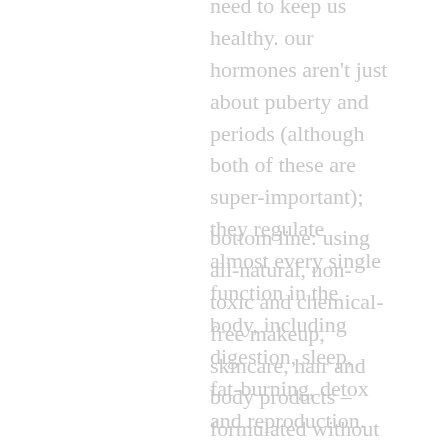need to keep us healthy. our hormones aren't just about puberty and periods (although both of these are super-important); they regulate almost every single function in the body, including digestion, sleep, fat-burning, detox and reproduction.
bottom line: using all-natural, non-toxic and chemical-free makeup, skincare, hair and body products – formulated without any endocrine-disruptors! – helps keep our hormones healthy.